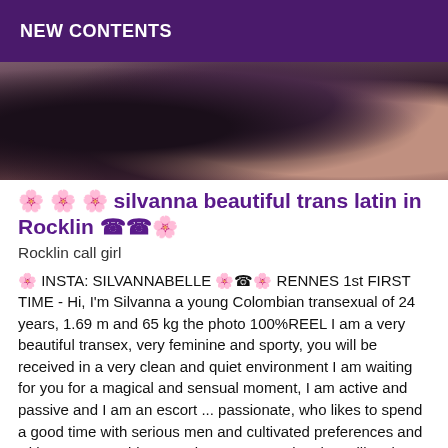NEW CONTENTS
[Figure (photo): Close-up photo showing tattooed skin, appears to be a back/shoulder area with floral tattoo design]
🌸🌸🌸 silvanna beautiful trans latin in Rocklin ☎☎🌸
Rocklin call girl
🌸 INSTA: SILVANNABELLE 🌸☎🌸 RENNES 1st FIRST TIME - Hi, I'm Silvanna a young Colombian transexual of 24 years, 1.69 m and 65 kg the photo 100%REEL I am a very beautiful transex, very feminine and sporty, you will be received in a very clean and quiet environment I am waiting for you for a magical and sensual moment, I am active and passive and I am an escort ... passionate, who likes to spend a good time with serious men and cultivated preferences and with a pervert spirit, I promise you a meeting that will make you appreciate my kisses